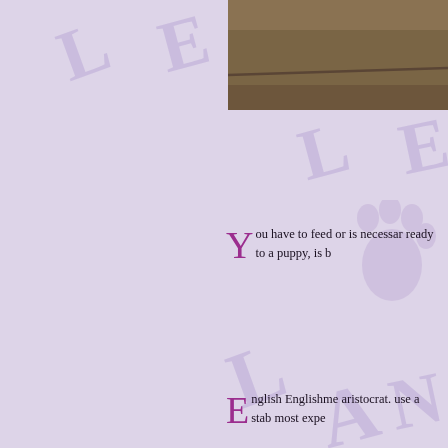[Figure (photo): Brown wood floor surface, partial crop at top right of page]
You have to feed or is necessary ready to a puppy, is b
English Englishme aristocrat. use a stab most expe